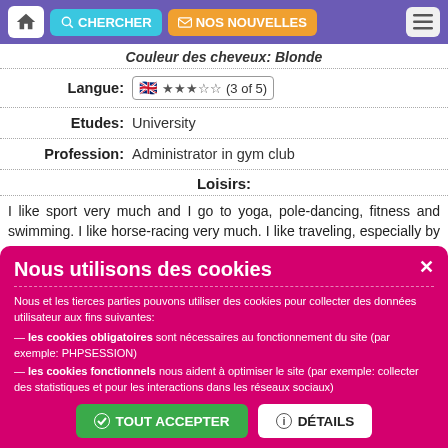CHERCHER  NOS NOUVELLES
Couleur des cheveux: Blonde
| Langue: | 🇬🇧 ★★★☆☆ (3 of 5) |
| Etudes: | University |
| Profession: | Administrator in gym club |
Loisirs:
I like sport very much and I go to yoga, pole-dancing, fitness and swimming. I like horse-racing very much. I like traveling, especially by my car. Also I like to study and to develop my inner world – I study English, read classical books, listen to music. I enjoy life!
Nous utilisons des cookies
Nous et les tierces parties pouvons utiliser des cookies pour collecter des données utilisateur aux fins suivantes:
— les cookies obligatoires sont nécessaires au fonctionnement du site (par exemple: PHPSESSION)
— les cookies fonctionnels nous aident à optimiser le site (par exemple: collecter des statistiques et pour les interactions dans les réseaux sociaux)
✓ TOUT ACCEPTER   ℹ DÉTAILS